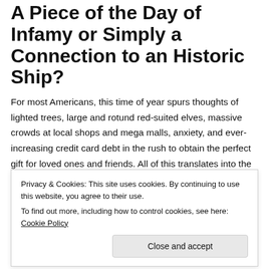A Piece of the Day of Infamy or Simply a Connection to an Historic Ship?
For most Americans, this time of year spurs thoughts of lighted trees, large and rotund red-suited elves, massive crowds at local shops and mega malls, anxiety, and ever-increasing credit card debt in the rush to obtain the perfect gift for loved ones and friends. All of this translates into the … Continue reading →
December 7, 2016   2 Replies
Privacy & Cookies: This site uses cookies. By continuing to use this website, you agree to their use.
To find out more, including how to control cookies, see here: Cookie Policy
Close and accept